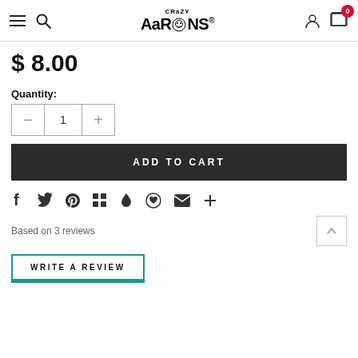Crazy Aaron's - navigation header with hamburger menu, search, logo, account, and cart (0 items)
$ 8.00
Quantity:
1
ADD TO CART
[Figure (other): Social sharing icons: Facebook, Twitter, Pinterest, Grid/Fancy, Dropmark, Wanelo, Email, More]
Based on 3 reviews
WRITE A REVIEW